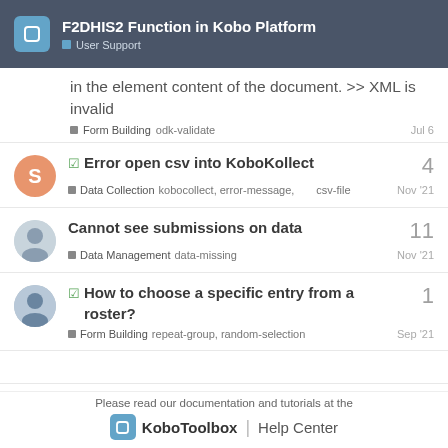F2DHIS2 Function in Kobo Platform — User Support
in the element content of the document. >> XML is invalid
Form Building   odk-validate   Jul 6
✓ Error open csv into KoboKollect | 4 | Data Collection   kobocollect, error-message, csv-file   Nov '21
Cannot see submissions on data | 11 | Data Management   data-missing   Nov '21
✓ How to choose a specific entry from a roster? | 1 | Form Building   repeat-group, random-selection   Sep '21
Please read our documentation and tutorials at the
KoboToolbox | Help Center